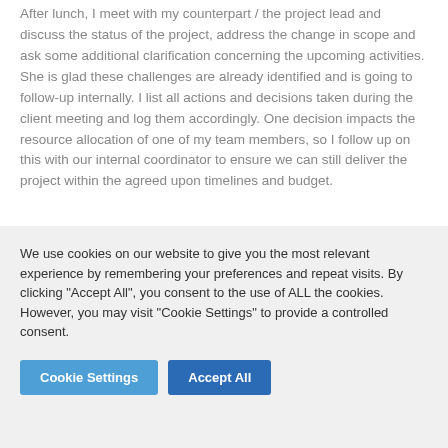After lunch, I meet with my counterpart / the project lead and discuss the status of the project, address the change in scope and ask some additional clarification concerning the upcoming activities. She is glad these challenges are already identified and is going to follow-up internally. I list all actions and decisions taken during the client meeting and log them accordingly. One decision impacts the resource allocation of one of my team members, so I follow up on this with our internal coordinator to ensure we can still deliver the project within the agreed upon timelines and budget.
We use cookies on our website to give you the most relevant experience by remembering your preferences and repeat visits. By clicking "Accept All", you consent to the use of ALL the cookies. However, you may visit "Cookie Settings" to provide a controlled consent.